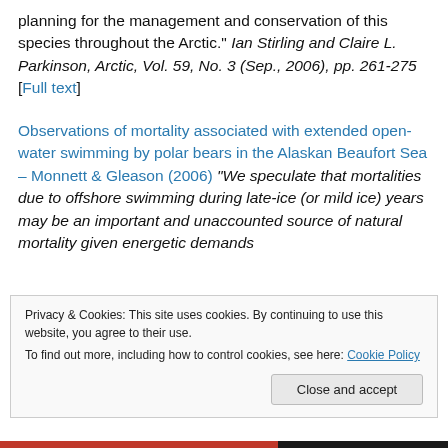planning for the management and conservation of this species throughout the Arctic." Ian Stirling and Claire L. Parkinson, Arctic, Vol. 59, No. 3 (Sep., 2006), pp. 261-275 [Full text]
Observations of mortality associated with extended open-water swimming by polar bears in the Alaskan Beaufort Sea – Monnett & Gleason (2006) "We speculate that mortalities due to offshore swimming during late-ice (or mild ice) years may be an important and unaccounted source of natural mortality given energetic demands
Privacy & Cookies: This site uses cookies. By continuing to use this website, you agree to their use. To find out more, including how to control cookies, see here: Cookie Policy